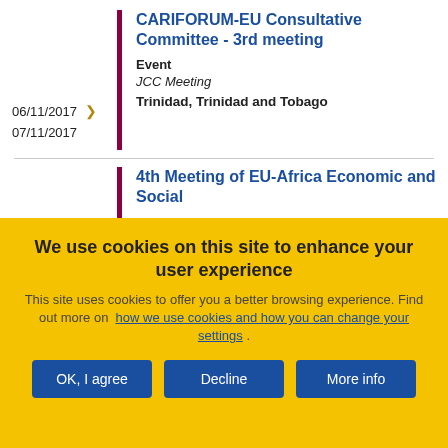CARIFORUM-EU Consultative Committee - 3rd meeting
Event
JCC Meeting
Trinidad, Trinidad and Tobago
06/11/2017 > 07/11/2017
4th Meeting of EU-Africa Economic and Social
We use cookies on this site to enhance your user experience
This site uses cookies to offer you a better browsing experience. Find out more on how we use cookies and how you can change your settings .
OK, I agree | Decline | More info